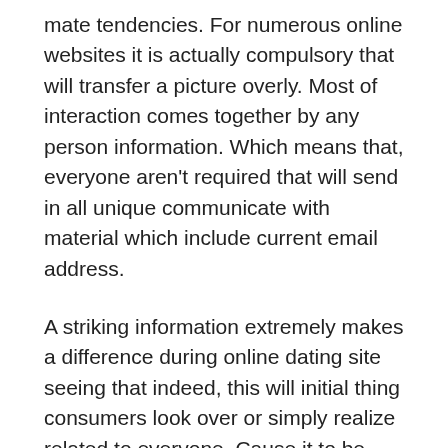mate tendencies. For numerous online websites it is actually compulsory that will transfer a picture overly. Most of interaction comes together by any person information. Which means that, everyone aren't required that will send in all unique communicate with material which include current email address.
A striking information extremely makes a difference during online dating site seeing that indeed, this will initial thing consumers look over or simply realize related to everyone. Cause it to be simple together with appealing, a good write-up the fact that sums up the man that you're. It should tone certain. It should seem like everyone. Look at many other dating profiles to build a good idea for how to have to system it all.